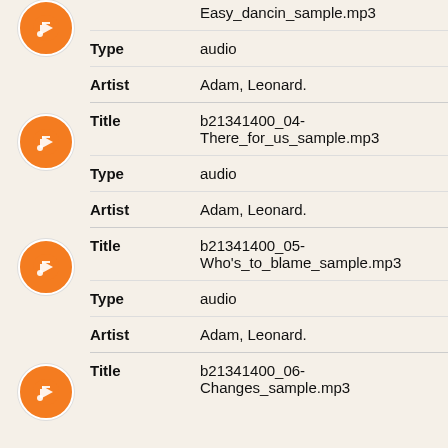| Field | Value |
| --- | --- |
| Title | Easy_dancin_sample.mp3 |
| Type | audio |
| Artist | Adam, Leonard. |
| Field | Value |
| --- | --- |
| Title | b21341400_04-There_for_us_sample.mp3 |
| Type | audio |
| Artist | Adam, Leonard. |
| Field | Value |
| --- | --- |
| Title | b21341400_05-Who's_to_blame_sample.mp3 |
| Type | audio |
| Artist | Adam, Leonard. |
| Field | Value |
| --- | --- |
| Title | b21341400_06-Changes_sample.mp3 |